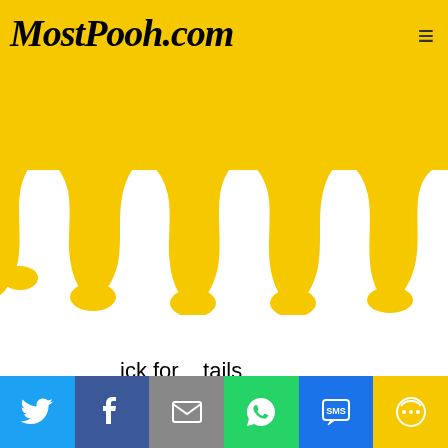MostPooh.com
[Figure (illustration): Dripping golden honey/yellow paint effect across the top portion of the page, with thick yellow drips hanging down over white background]
click for details
Seven m...-stories of adultery: "Funeral Possession," a wayward widow at her husband's funeral; "Amateur Night," angry wife becomes streetwalker out of revenge; "Two Against One," seemingly prudish girl turns out otherwise; "Super Simone," wife vainly attempts to divert her over-engrossed writer husband; "At the Opera," a battle over a supposedly exclusive dress; "Suicides," a
Social share buttons: Twitter, Facebook, Email, WhatsApp, SMS, More